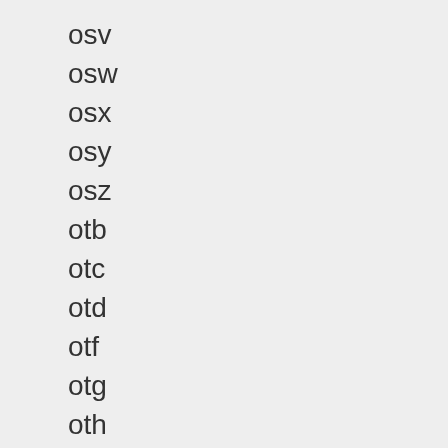osv
osw
osx
osy
osz
otb
otc
otd
otf
otg
oth
otj
otk
otl